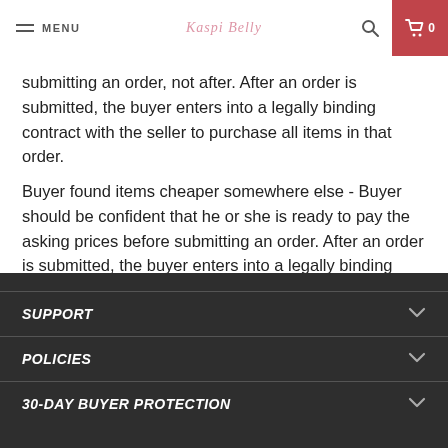MENU | Kaspi Belly | Search | Cart 0
submitting an order, not after. After an order is submitted, the buyer enters into a legally binding contract with the seller to purchase all items in that order.
Buyer found items cheaper somewhere else - Buyer should be confident that he or she is ready to pay the asking prices before submitting an order. After an order is submitted, the buyer enters into a legally binding contract with the seller to purchase all items in that order.
SUPPORT
POLICIES
30-DAY BUYER PROTECTION